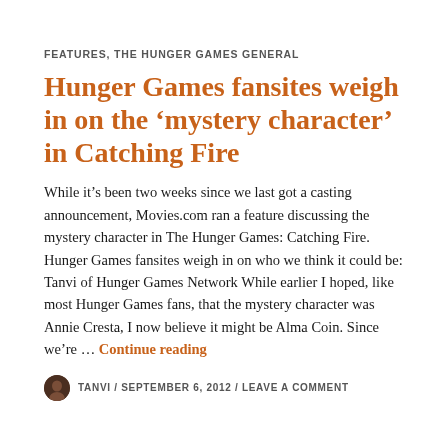FEATURES, THE HUNGER GAMES GENERAL
Hunger Games fansites weigh in on the 'mystery character' in Catching Fire
While it’s been two weeks since we last got a casting announcement, Movies.com ran a feature discussing the mystery character in The Hunger Games: Catching Fire. Hunger Games fansites weigh in on who we think it could be: Tanvi of Hunger Games Network While earlier I hoped, like most Hunger Games fans, that the mystery character was Annie Cresta, I now believe it might be Alma Coin. Since we’re … Continue reading
TANVI / SEPTEMBER 6, 2012 / LEAVE A COMMENT